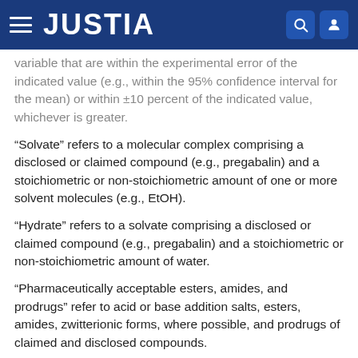JUSTIA
variable that are within the experimental error of the indicated value (e.g., within the 95% confidence interval for the mean) or within ±10 percent of the indicated value, whichever is greater.
“Solvate” refers to a molecular complex comprising a disclosed or claimed compound (e.g., pregabalin) and a stoichiometric or non-stoichiometric amount of one or more solvent molecules (e.g., EtOH).
“Hydrate” refers to a solvate comprising a disclosed or claimed compound (e.g., pregabalin) and a stoichiometric or non-stoichiometric amount of water.
“Pharmaceutically acceptable esters, amides, and prodrugs” refer to acid or base addition salts, esters, amides, zwitterionic forms, where possible, and prodrugs of claimed and disclosed compounds.